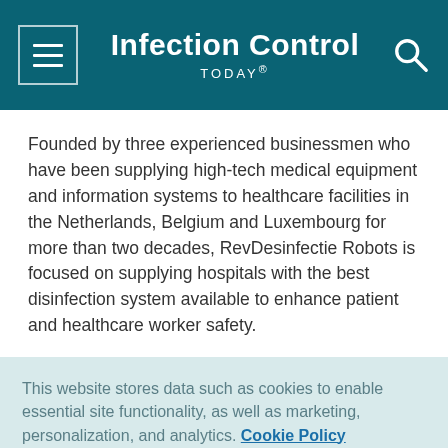Infection Control TODAY®
Founded by three experienced businessmen who have been supplying high-tech medical equipment and information systems to healthcare facilities in the Netherlands, Belgium and Luxembourg for more than two decades, RevDesinfectie Robots is focused on supplying hospitals with the best disinfection system available to enhance patient and healthcare worker safety.
This website stores data such as cookies to enable essential site functionality, as well as marketing, personalization, and analytics. Cookie Policy
Accept
Deny